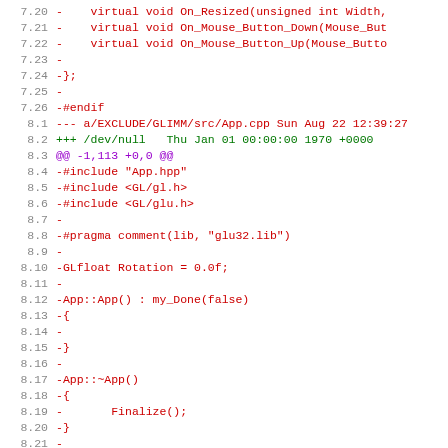Diff/patch code view showing removed lines from GLIMM/src/App.cpp
7.20  -   virtual void On_Resized(unsigned int Width,
7.21  -   virtual void On_Mouse_Button_Down(Mouse_Bu
7.22  -   virtual void On_Mouse_Button_Up(Mouse_Butto
7.23  -
7.24  -};
7.25  -
7.26  -#endif
8.1   --- a/EXCLUDE/GLIMM/src/App.cpp Sun Aug 22 12:39:27
8.2   +++ /dev/null   Thu Jan 01 00:00:00 1970 +0000
8.3   @@ -1,113 +0,0 @@
8.4   -#include "App.hpp"
8.5   -#include <GL/gl.h>
8.6   -#include <GL/glu.h>
8.7   -
8.8   -#pragma comment(lib, "glu32.lib")
8.9   -
8.10  -GLfloat Rotation = 0.0f;
8.11  -
8.12  -App::App() : my_Done(false)
8.13  -{
8.14  -
8.15  -}
8.16  -
8.17  -App::~App()
8.18  -{
8.19  -       Finalize();
8.20  -}
8.21  -
8.22  -void App::Initialize()
8.23  -{
8.24  -       Finalize();
8.25  -